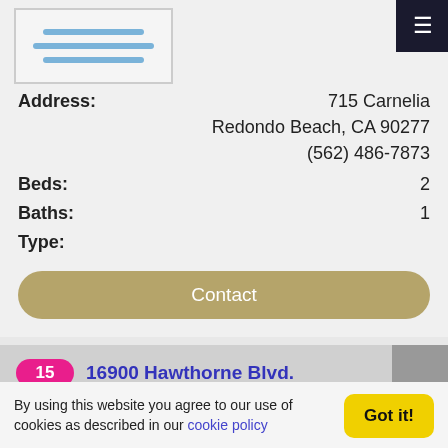[Figure (illustration): Property listing image placeholder with horizontal lines icon]
Address: 715 Carnelia
Redondo Beach, CA 90277
(562) 486-7873
Beds: 2
Baths: 1
Type:
Contact
15  16900 Hawthorne Blvd.
Call for Details
[Figure (illustration): Property navigation arrows and image placeholder]
By using this website you agree to our use of cookies as described in our cookie policy
Got it!